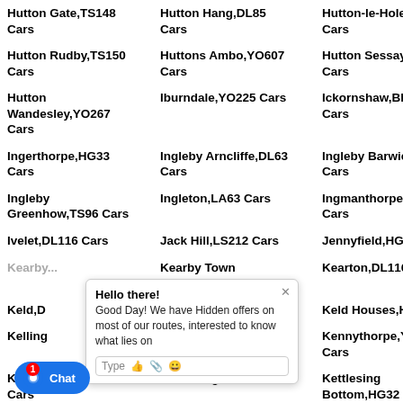Hutton Gate,TS148 Cars
Hutton Hang,DL85 Cars
Hutton-le-Hole,YO626 Cars
Ca...
Hutton Rudby,TS150 Cars
Huttons Ambo,YO607 Cars
Hutton Sessay,YO73 Cars
Hu...
Hutton Wandesley,YO267 Cars
Iburndale,YO225 Cars
Ickornshaw,BD220 Cars
Ilt...
Ingerthorpe,HG33 Cars
Ingleby Arncliffe,DL63 Cars
Ingleby Barwick,TS170 Cars
Ing...
Ingleby Greenhow,TS96 Cars
Ingleton,LA63 Cars
Ingmanthorpe,LS225 Cars
Irt...
Ivelet,DL116 Cars
Jack Hill,LS212 Cars
Jennyfield,HG32 Cars
Ju...
Kearby...Cars
Kearby Town End,LS224 Cars
Kearton,DL116 Cars
Ke...
Keld,D...
Keldholme,YO626 Cars
Keld Houses,HG35 Cars
Ke...
Kellin...Cars
Kellington,DN140 Cars
Kennythorpe,YO179 Cars
Ke...
Kettle...Cars
Kettlesing,HG32 Cars
Kettlesing Bottom,HG32 Cars
Ke...
Kexby,YO419 Cars
Key Green,YO225 Cars
Kilburn,YO614 Cars
Kil...
...0209 Cars
Killerby,YO113 Cars
Killinghall,HG32 Cars
Kil...Ca...